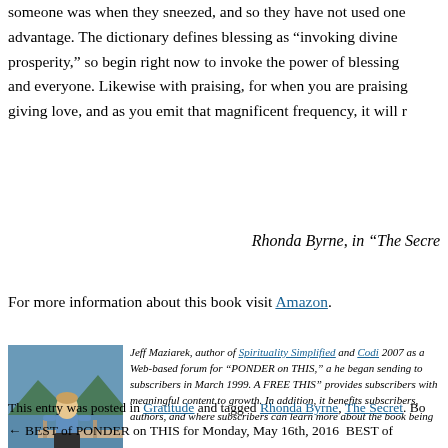someone was when they sneezed, and so they have not used one advantage. The dictionary defines blessing as “invoking divine prosperity,” so begin right now to invoke the power of blessing and everyone. Likewise with praising, for when you are praising giving love, and as you emit that magnificent frequency, it will r
Rhonda Byrne, in “The Secre
For more information about this book visit Amazon.
[Figure (photo): Photo of Jeff Maziarek standing outdoors near water with mountains in background, wearing a blue shirt and dark shorts]
Jeff Maziarek, author of Spirituality Simplified and Codi 2007 as a Web-based forum for “PONDER on THIS,” a he began sending to subscribers in March 1999. A FREE THIS” provides subscribers with meaningful content to growth. In addition, it benefits subscribers, authors, and where subscribers can learn more about the book being
This entry was posted in Gratitude and tagged Rhonda Byrne, The Secret. Bo
← BEST of PONDER on THIS for Monday, May 16th, 2016   BEST of PONDE by Mother Teresa                                              by Emmet B